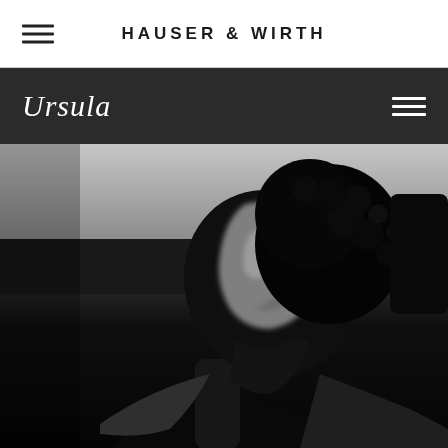HAUSER & WIRTH
Ursula
[Figure (photo): Black and white photograph of a person tilting their head back, face upward, with natural curly hair and bare shoulders, dramatically lit against a dark background with a lighter upper band.]